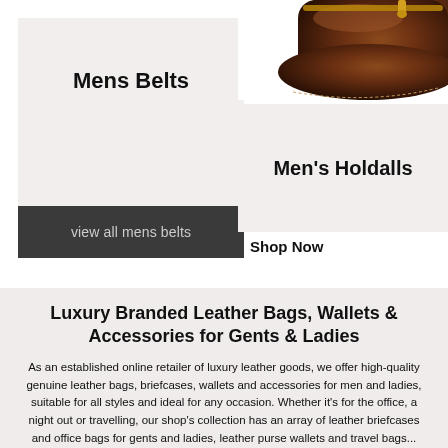[Figure (photo): Close-up photo of a dark brown leather holdall/duffel bag with a gold zipper, showing the corner of the bag against a white background.]
Mens Belts
view all mens belts
Men's Holdalls
Shop Now
Luxury Branded Leather Bags, Wallets & Accessories for Gents & Ladies
As an established online retailer of luxury leather goods, we offer high-quality genuine leather bags, briefcases, wallets and accessories for men and ladies, suitable for all styles and ideal for any occasion. Whether it's for the office, a night out or travelling, our shop's collection has an array of leather briefcases and office bags for gents and ladies, leather purse wallets and travel bags...